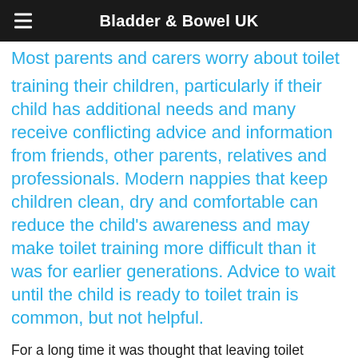Bladder & Bowel UK
Most parents and carers worry about toilet training their children, particularly if their child has additional needs and many receive conflicting advice and information from friends, other parents, relatives and professionals. Modern nappies that keep children clean, dry and comfortable can reduce the child's awareness and may make toilet training more difficult than it was for earlier generations. Advice to wait until the child is ready to toilet train is common, but not helpful.
For a long time it was thought that leaving toilet training until later makes it easier, particularly if a child has additional needs. It was also thought that children have to be showing an interest in toilet training, or at least an awareness of when they are wet or soiled. There is no clear evidence to support this and some children will not